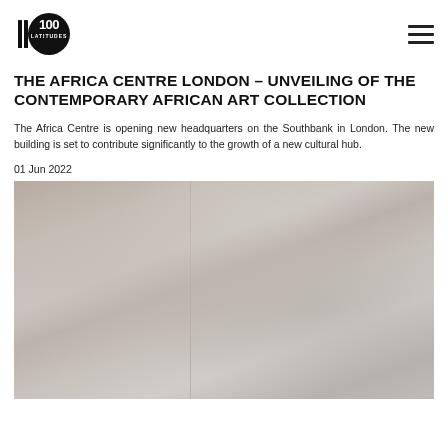LATITUDES (logo)
THE AFRICA CENTRE LONDON – UNVEILING OF THE CONTEMPORARY AFRICAN ART COLLECTION
The Africa Centre is opening new headquarters on the Southbank in London. The new building is set to contribute significantly to the growth of a new cultural hub.
01 Jun 2022
[Figure (photo): Blurred/soft-focus photograph showing muted beige, taupe and grey tones, likely an interior or artwork detail. A faint vertical line divides the image.]